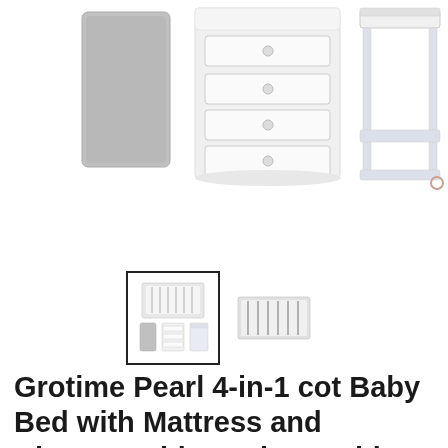[Figure (photo): Product photo showing three items: a grey mattress on the left, a white 4-drawer chest in the center, and a white changing table on the right, all on a white background.]
[Figure (photo): Two thumbnail images: a selected thumbnail (outlined with black border) showing the full product set, and a second thumbnail showing a close-up of the cot bars.]
Grotime Pearl 4-in-1 cot Baby Bed with Mattress and Change Table & Chest White Package